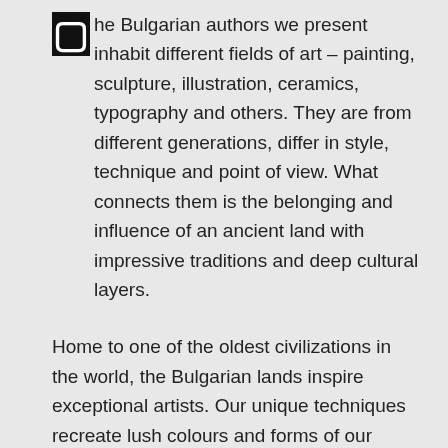The Bulgarian authors we present inhabit different fields of art – painting, sculpture, illustration, ceramics, typography and others. They are from different generations, differ in style, technique and point of view. What connects them is the belonging and influence of an ancient land with impressive traditions and deep cultural layers.
Home to one of the oldest civilizations in the world, the Bulgarian lands inspire exceptional artists. Our unique techniques recreate lush colours and forms of our impressive landscape and carry the worldly wisdom of our ancestors.
More than 6,500 years ago in the area of today's